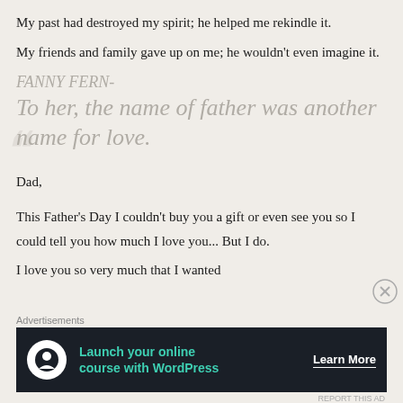My past had destroyed my spirit; he helped me rekindle it.
My friends and family gave up on me; he wouldn’t even imagine it.
FANNY FERN-
To her, the name of father was another name for love.
Dad,
This Father’s Day I couldn’t buy you a gift or even see you so I could tell you how much I love you... But I do.
I love you so very much that I wanted
[Figure (other): Close button (X in circle) for advertisement overlay]
Advertisements
[Figure (other): Advertisement banner: Launch your online course with WordPress - Learn More]